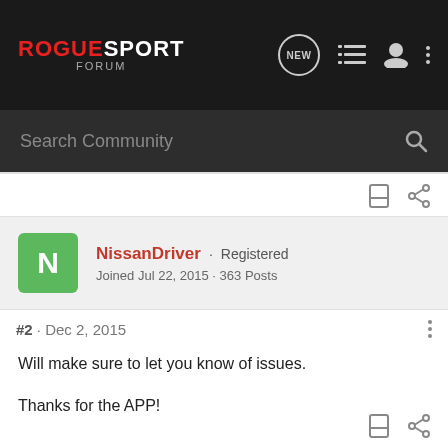RogueSport Forum
Search Community
NissanDriver · Registered
Joined Jul 22, 2015 · 363 Posts
#2 · Dec 2, 2015
Will make sure to let you know of issues.

Thanks for the APP!